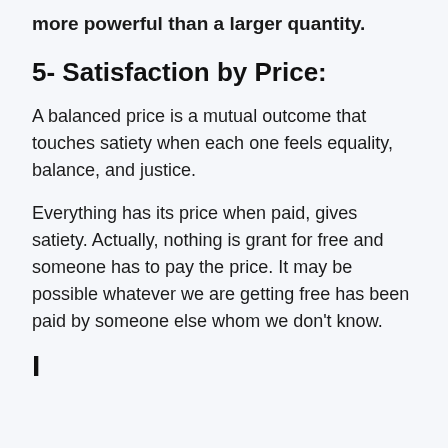appears that few qualitative numbers are more powerful than a larger quantity.
5- Satisfaction by Price:
A balanced price is a mutual outcome that touches satiety when each one feels equality, balance, and justice.
Everything has its price when paid, gives satiety. Actually, nothing is grant for free and someone has to pay the price. It may be possible whatever we are getting free has been paid by someone else whom we don't know.
•